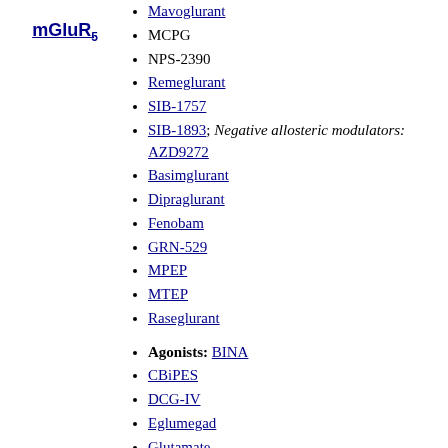mGluR5
Mavoglurant
MCPG
NPS-2390
Remeglurant
SIB-1757
SIB-1893; Negative allosteric modulators: AZD9272
Basimglurant
Dipraglurant
Fenobam
GRN-529
MPEP
MTEP
Raseglurant
Agonists: BINA
CBiPES
DCG-IV
Eglumegad
Glutamate
Ibotenic acid
LY-379,268
LY-404,039 (pomaglumetad)
LY-487,379
LY-566,332